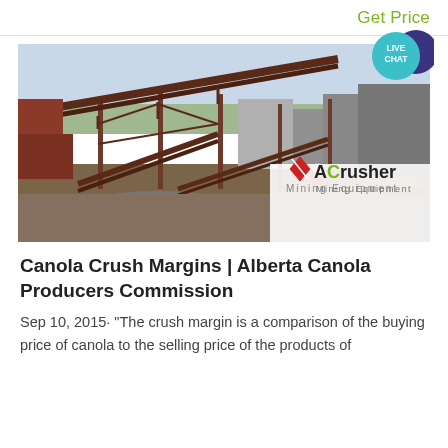Get Price
[Figure (photo): Industrial mining/crushing facility with large conveyor belts, steel framework structures, and industrial buildings in background. An ACrusher Mining Equipment logo overlay appears in the bottom right corner. A 'LIVE CHAT' badge appears in the top right.]
Canola Crush Margins | Alberta Canola Producers Commission
Sep 10, 2015· "The crush margin is a comparison of the buying price of canola to the selling price of the products of